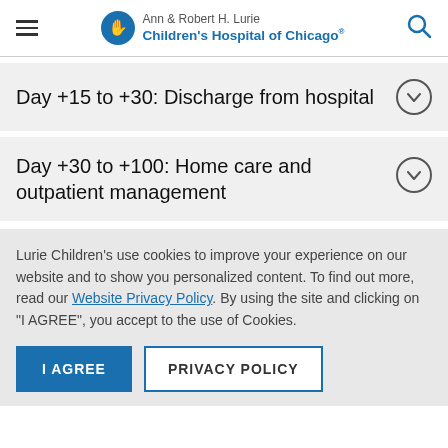Ann & Robert H. Lurie Children's Hospital of Chicago
Day +15 to +30: Discharge from hospital
Day +30 to +100: Home care and outpatient management
Lurie Children's use cookies to improve your experience on our website and to show you personalized content. To find out more, read our Website Privacy Policy. By using the site and clicking on "I AGREE", you accept to the use of Cookies.